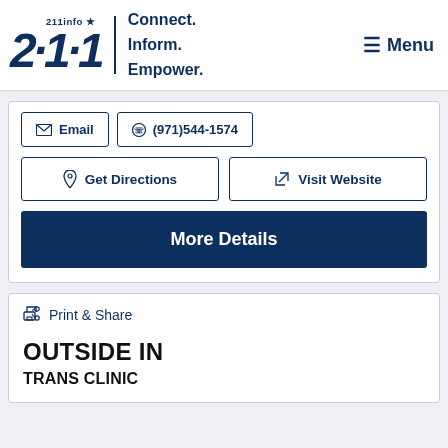211info ★ | Connect. Inform. Empower. | Menu
✉ Email | ☎ (971)544-1574
📍 Get Directions | ↗ Visit Website
More Details
🖶 Print & Share
OUTSIDE IN
TRANS CLINIC